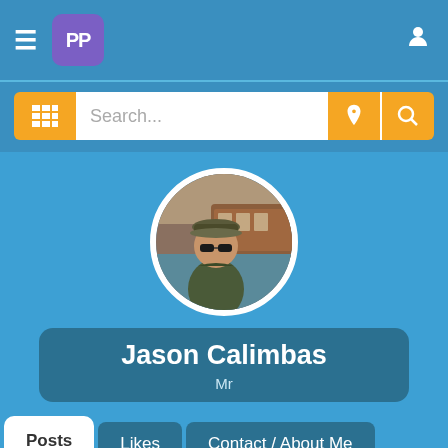[Figure (screenshot): Mobile app navigation bar with hamburger menu, PP logo in purple square, and user icon on right]
[Figure (screenshot): Search bar with orange grid button, text input showing 'Search...', location pin button, and search magnifier button]
[Figure (photo): Circular profile photo of Jason Calimbas wearing sunglasses and a cap, with a San Francisco cable car in background]
Jason Calimbas
Mr
Posts
Likes
Contact / About Me
[Figure (photo): Four thumbnail photos displayed at the bottom of the profile page]